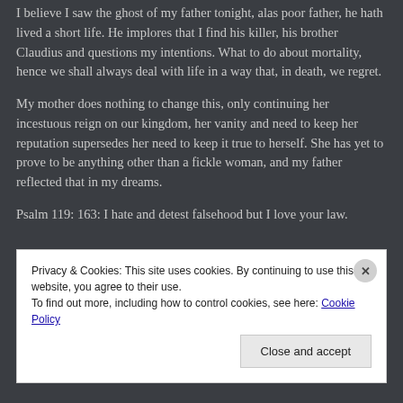I believe I saw the ghost of my father tonight, alas poor father, he hath lived a short life. He implores that I find his killer, his brother Claudius and questions my intentions. What to do about mortality, hence we shall always deal with life in a way that, in death, we regret.
My mother does nothing to change this, only continuing her incestuous reign on our kingdom, her vanity and need to keep her reputation supersedes her need to keep it true to herself. She has yet to prove to be anything other than a fickle woman, and my father reflected that in my dreams.
Psalm 119: 163:  I hate and detest falsehood but I love your law.
Privacy & Cookies: This site uses cookies. By continuing to use this website, you agree to their use.
To find out more, including how to control cookies, see here: Cookie Policy
Close and accept